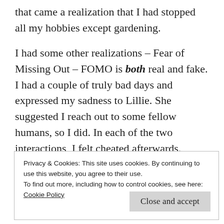that came a realization that I had stopped all my hobbies except gardening.
I had some other realizations – Fear of Missing Out – FOMO is both real and fake. I had a couple of truly bad days and expressed my sadness to Lillie. She suggested I reach out to some fellow humans, so I did. In each of the two interactions, I felt cheated afterwards. That's what I mean by real and fake. I felt left out, that was real but I thought these co-workers were having fun without me because they were without me. Turns out nothing personal and in one case, they were not even having
Privacy & Cookies: This site uses cookies. By continuing to use this website, you agree to their use.
To find out more, including how to control cookies, see here:
Cookie Policy
Close and accept